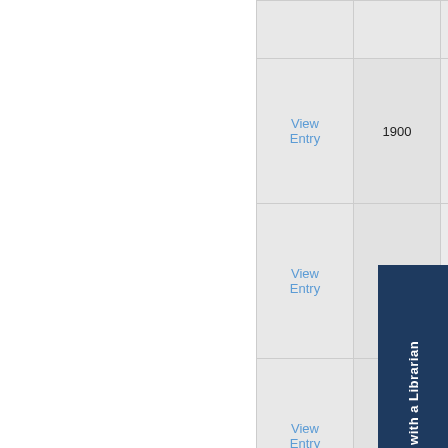| Link | Year | Case Name | S |
| --- | --- | --- | --- |
|  |  |  |  |
| View Entry | 1900 | State v. Phillip Robertson | S |
| View Entry | 1900 | State v. Will Ellis alias Wil Johnson | S |
| View Entry | 1900 | State v. George Trafford | S |
|  |  |  |  |